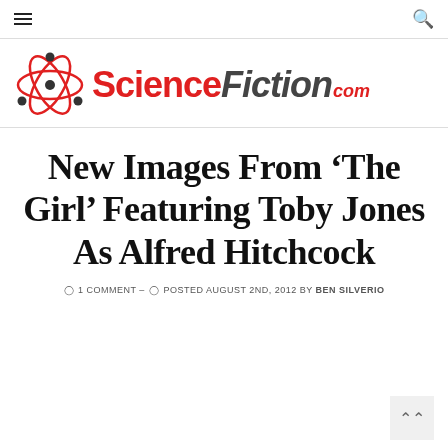≡  [hamburger menu] | [search icon]
[Figure (logo): ScienceFiction.com logo with red atom/orbit icon on left and ScienceFiction.com text in red and dark gray]
New Images From 'The Girl' Featuring Toby Jones As Alfred Hitchcock
1 COMMENT –  POSTED AUGUST 2ND, 2012 BY BEN SILVERIO